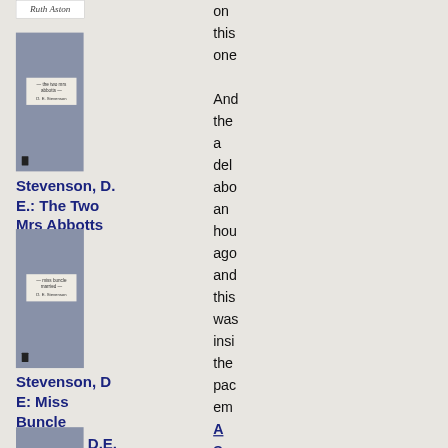[Figure (photo): Book cover thumbnail at top with cursive author name 'Ruth Aston' on white background]
[Figure (photo): Grey book cover for 'The Two Mrs Abbotts' with a small label and spine icon]
Stevenson, D. E.: The Two Mrs Abbotts
[Figure (photo): Grey book cover for 'Miss Buncle Married' with a small label and spine icon]
Stevenson, D E: Miss Buncle Married
[Figure (photo): Partial grey book cover at bottom]
D.E.
on this one And the a del abo an hou ago and this was insi the pac em
A Su for Ch and